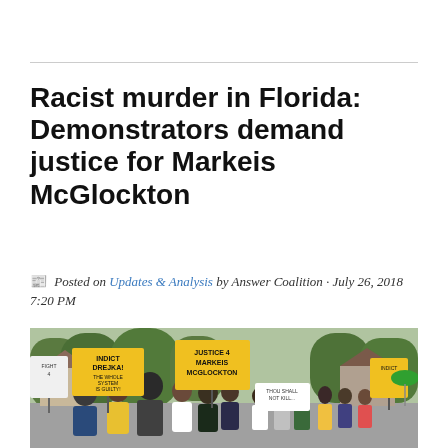Racist murder in Florida: Demonstrators demand justice for Markeis McGlockton
Posted on Updates & Analysis by Answer Coalition · July 26, 2018 7:20 PM
[Figure (photo): A crowd of demonstrators marching on a street holding yellow signs reading 'INDICT DREJKA! THE WHOLE SYSTEM IS GUILTY!' and 'JUSTICE 4 MARKEIS MCGLOCKTON', along with other protest signs. Protesters of various ages including men and women walking together, trees and houses visible in the background.]